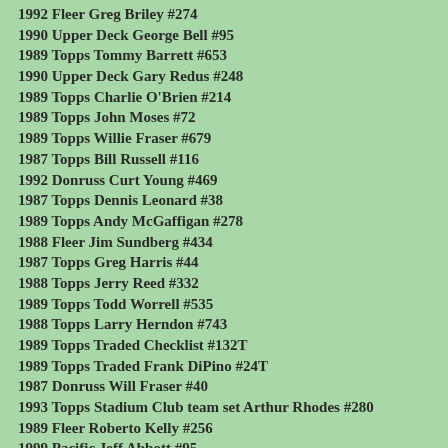1992 Fleer Greg Briley #274
1990 Upper Deck George Bell #95
1989 Topps Tommy Barrett #653
1990 Upper Deck Gary Redus #248
1989 Topps Charlie O'Brien #214
1989 Topps John Moses #72
1989 Topps Willie Fraser #679
1987 Topps Bill Russell #116
1992 Donruss Curt Young #469
1987 Topps Dennis Leonard #38
1989 Topps Andy McGaffigan #278
1988 Fleer Jim Sundberg #434
1987 Topps Greg Harris #44
1988 Topps Jerry Reed #332
1989 Topps Todd Worrell #535
1988 Topps Larry Herndon #743
1989 Topps Traded Checklist #132T
1989 Topps Traded Frank DiPino #24T
1987 Donruss Will Fraser #40
1993 Topps Stadium Club team set Arthur Rhodes #280
1989 Fleer Roberto Kelly #256
1999 Pacific Jeff Abbott #95